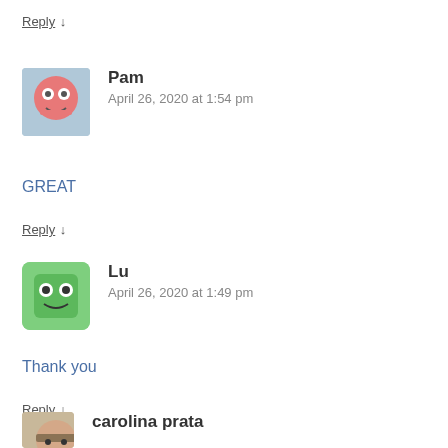Reply ↓
Pam
April 26, 2020 at 1:54 pm
GREAT
Reply ↓
Lu
April 26, 2020 at 1:49 pm
Thank you
Reply ↓
carolina prata